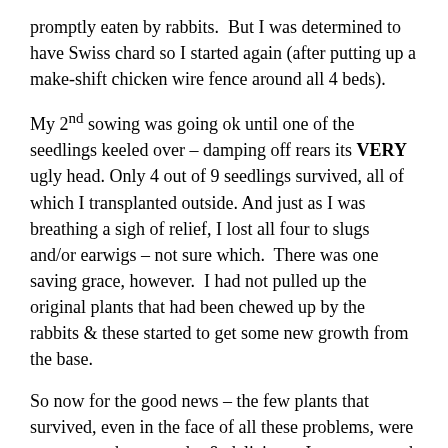promptly eaten by rabbits.  But I was determined to have Swiss chard so I started again (after putting up a make-shift chicken wire fence around all 4 beds).
My 2nd sowing was going ok until one of the seedlings keeled over – damping off rears its VERY ugly head. Only 4 out of 9 seedlings survived, all of which I transplanted outside. And just as I was breathing a sigh of relief, I lost all four to slugs and/or earwigs – not sure which.  There was one saving grace, however.  I had not pulled up the original plants that had been chewed up by the rabbits & these started to get some new growth from the base.
So now for the good news – the few plants that survived, even in the face of all these problems, were awesome – huge, tender & delicious.  I am now much better prepared (I think) and will be able to (hopefully) avoid or at least minimize these issues going forward.